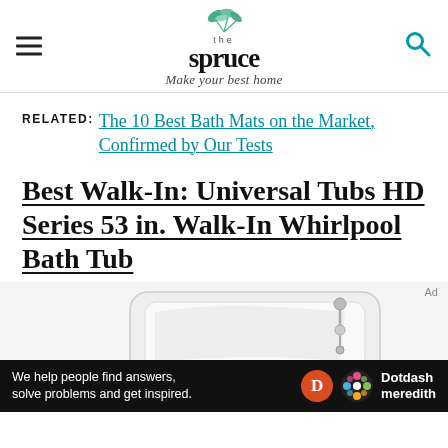the spruce — Make your best home
RELATED: The 10 Best Bath Mats on the Market, Confirmed by Our Tests
Best Walk-In: Universal Tubs HD Series 53 in. Walk-In Whirlpool Bath Tub
[Figure (photo): Walk-in whirlpool bath tub product photo showing white tub with chrome fixtures]
Ad — We help people find answers, solve problems and get inspired. Dotdash meredith